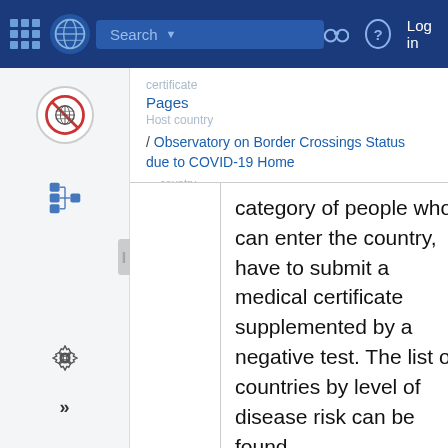Search | Log in
Pages / Observatory on Border Crossings Status due to COVID-19 Home
category of people who can enter the country, have to submit a medical certificate supplemented by a negative test. The list of countries by level of disease risk can be found